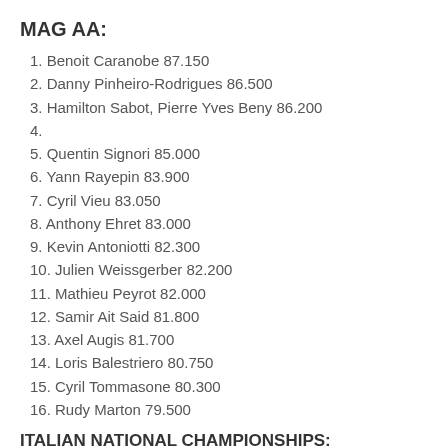MAG AA:
1. Benoit Caranobe 87.150
2. Danny Pinheiro-Rodrigues 86.500
3. Hamilton Sabot, Pierre Yves Beny 86.200
4.
5. Quentin Signori 85.000
6. Yann Rayepin 83.900
7. Cyril Vieu 83.050
8. Anthony Ehret 83.000
9. Kevin Antoniotti 82.300
10. Julien Weissgerber 82.200
11. Mathieu Peyrot 82.000
12. Samir Ait Said 81.800
13. Axel Augis 81.700
14. Loris Balestriero 80.750
15. Cyril Tommasone 80.300
16. Rudy Marton 79.500
ITALIAN NATIONAL CHAMPIONSHIPS: